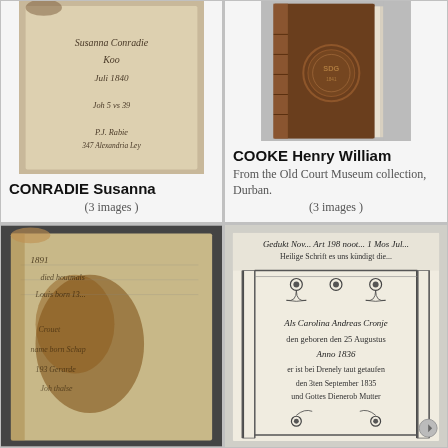[Figure (photo): Old handwritten inscription page showing 'Susanna Conradie Koo Juli 1840 Joh 5 vs 39 P.J. Rabie 347 Alexandria Ley']
CONRADIE Susanna
(3 images )
[Figure (photo): Old leather-bound book cover with embossed circular seal/stamp]
COOKE Henry William
From the Old Court Museum collection, Durban.
(3 images )
[Figure (photo): Old handwritten diary or notebook pages with brown staining/foxing, showing cursive handwriting]
[Figure (photo): Black and white printed decorative certificate or memorial page with floral border and German text, reading 'Carolina Andreas Cronje den geboren den 25 Augustus Anno 1836 er ist bei Drenely taut getaufen den 3ten September 1835 und Gottes Dienerob Mutter']